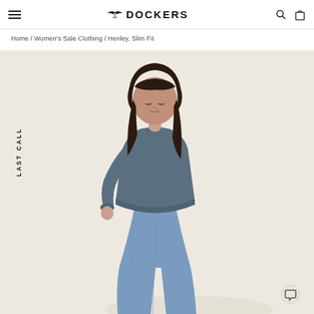DOCKERS
Home / Women's Sale Clothing / Henley, Slim Fit
[Figure (photo): Woman wearing a slate blue long-sleeve henley top and light blue slim-fit jeans, photographed from the side against a warm off-white background. A vertical 'LAST CALL' badge appears on the left side of the image.]
LAST CALL